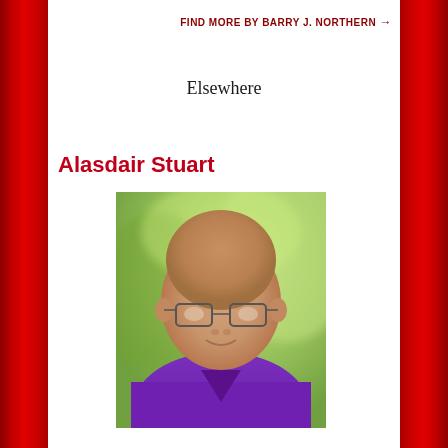FIND MORE BY BARRY J. NORTHERN →
Elsewhere
Alasdair Stuart
[Figure (photo): Headshot of Alasdair Stuart, a bald man with glasses wearing a purple V-neck shirt, photographed outdoors against a blurred green background.]